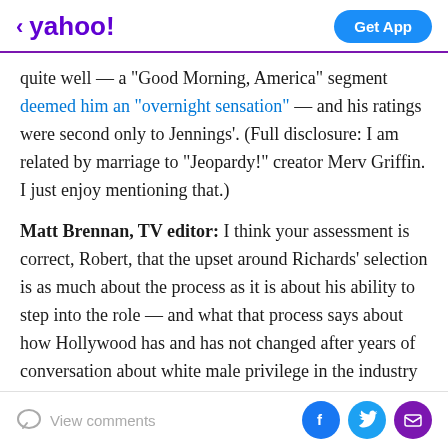< yahoo! | Get App
quite well — a "Good Morning, America" segment deemed him an "overnight sensation" — and his ratings were second only to Jennings'. (Full disclosure: I am related by marriage to "Jeopardy!" creator Merv Griffin. I just enjoy mentioning that.)
Matt Brennan, TV editor: I think your assessment is correct, Robert, that the upset around Richards' selection is as much about the process as it is about his ability to step into the role — and what that process says about how Hollywood has and has not changed after years of conversation about white male privilege in the industry on the one hand, and a serious lack of diversity
View comments | Facebook | Twitter | Email